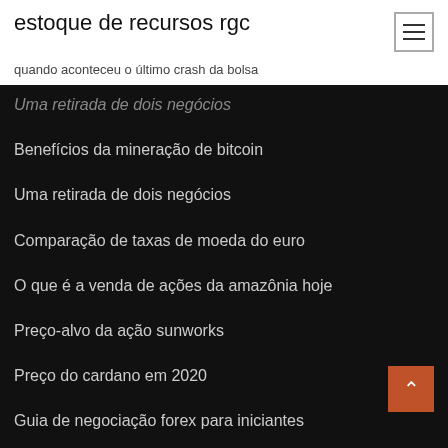estoque de recursos rgc
quando aconteceu o último crash da bolsa
Uma retirada de dois negócios (partially visible)
Benefícios da mineração de bitcoin
Uma retirada de dois negócios
Comparação de taxas de moeda do euro
O que é a venda de ações da amazônia hoje
Preço-alvo da ação sunworks
Preço do cardano em 2020
Guia de negociação forex para iniciantes
Preço do ouro uk por kg
Política de gerenciamento de riscos fx
Criptomoedas para manequins